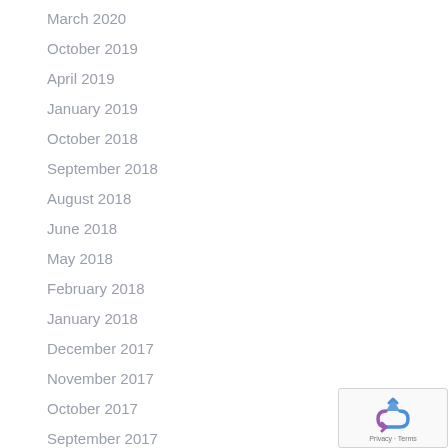March 2020
October 2019
April 2019
January 2019
October 2018
September 2018
August 2018
June 2018
May 2018
February 2018
January 2018
December 2017
November 2017
October 2017
September 2017
[Figure (logo): reCAPTCHA badge with recycling-arrow logo and Privacy · Terms text]